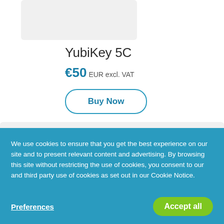[Figure (other): Product card image placeholder, light gray rectangle]
YubiKey 5C
€50 EUR excl. VAT
Buy Now
We use cookies to ensure that you get the best experience on our site and to present relevant content and advertising. By browsing this site without restricting the use of cookies, you consent to our and third party use of cookies as set out in our Cookie Notice.
Preferences
Accept all